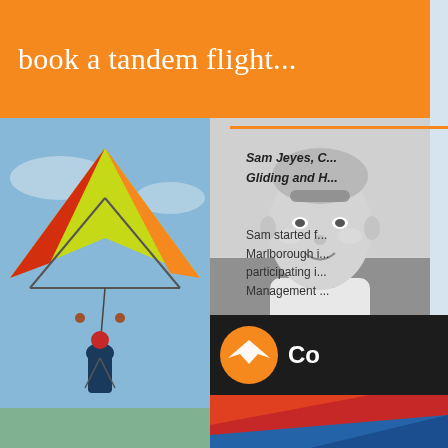book a tandem flight...
about
Sam Jeyes, C... Gliding and H...
Sam started f... Marlborough i... participating i... Management ...
[Figure (photo): Large color photo of hang glider wing with yellow-green canopy and pilot hanging below against blue sky]
[Figure (photo): Black and white portrait photo of smiling man (Sam Jeyes) with cropped grey hair outdoors]
[Figure (photo): Photo of pilot in cockpit/harness with red hang glider wing visible]
[Figure (photo): Photo from below of hang glider soaring over green patchwork fields]
[Figure (logo): Orange circle with white bird/hang glider logo on dark background with text 'Co...']
[Figure (photo): Partial photo of colorful (red, blue) hang glider wing at bottom right]